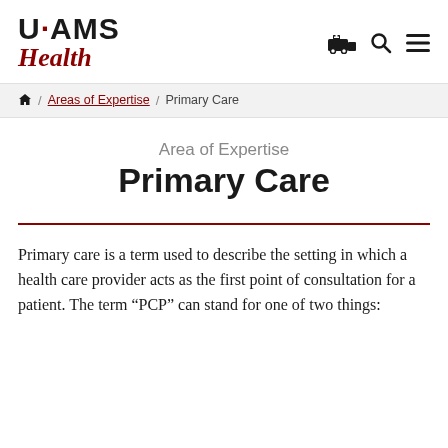UAMS Health
🏠 / Areas of Expertise / Primary Care
Area of Expertise
Primary Care
Primary care is a term used to describe the setting in which a health care provider acts as the first point of consultation for a patient. The term “PCP” can stand for one of two things: